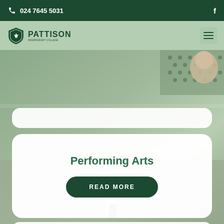024 7645 5031
[Figure (logo): Pattison logo with shield and school name]
[Figure (photo): Background photo of a student or performer, blurred/bokeh background]
Performing Arts
READ MORE